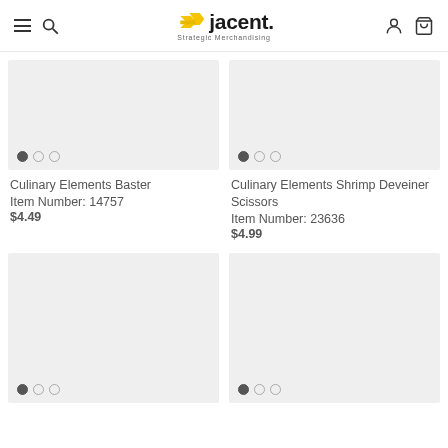Jacent Strategic Merchandising
[Figure (photo): Product image placeholder for Culinary Elements Baster - gray rectangle with dot indicators]
Culinary Elements Baster
Item Number: 14757
$4.49
[Figure (photo): Product image placeholder for Culinary Elements Shrimp Deveiner Scissors - gray rectangle with dot indicators]
Culinary Elements Shrimp Deveiner Scissors
Item Number: 23636
$4.99
[Figure (photo): Product image placeholder (bottom left) - gray rectangle with dot indicators]
[Figure (photo): Product image placeholder (bottom right) - gray rectangle with dot indicators]